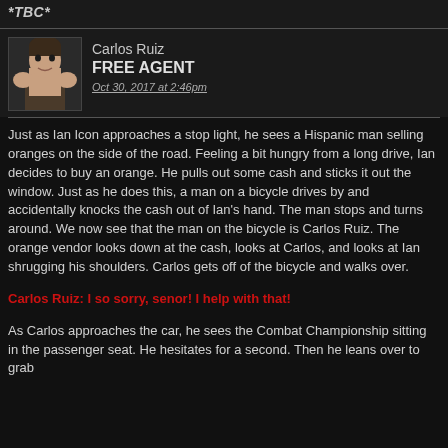*TBC*
Carlos Ruiz
FREE AGENT
Oct 30, 2017 at 2:46pm
Just as Ian Icon approaches a stop light, he sees a Hispanic man selling oranges on the side of the road. Feeling a bit hungry from a long drive, Ian decides to buy an orange. He pulls out some cash and sticks it out the window. Just as he does this, a man on a bicycle drives by and accidentally knocks the cash out of Ian's hand. The man stops and turns around. We now see that the man on the bicycle is Carlos Ruiz. The orange vendor looks down at the cash, looks at Carlos, and looks at Ian shrugging his shoulders. Carlos gets off of the bicycle and walks over.
Carlos Ruiz: I so sorry, senor! I help with that!
As Carlos approaches the car, he sees the Combat Championship sitting in the passenger seat. He hesitates for a second. Then he leans over to grab